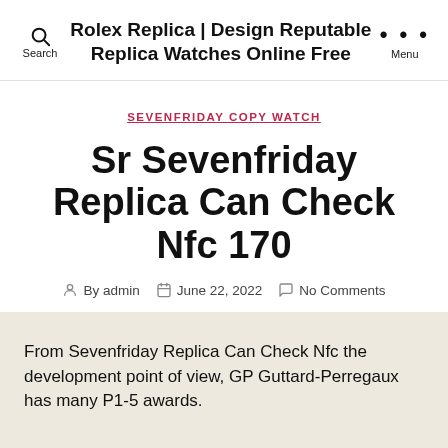Rolex Replica | Design Reputable Replica Watches Online Free
SEVENFRIDAY COPY WATCH
Sr Sevenfriday Replica Can Check Nfc 170
By admin  June 22, 2022  No Comments
From Sevenfriday Replica Can Check Nfc the development point of view, GP Guttard-Perregaux has many P1-5 awards.